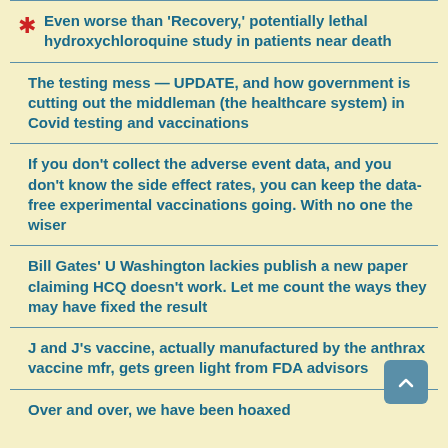Even worse than 'Recovery,' potentially lethal hydroxychloroquine study in patients near death
The testing mess — UPDATE, and how government is cutting out the middleman (the healthcare system) in Covid testing and vaccinations
If you don't collect the adverse event data, and you don't know the side effect rates, you can keep the data-free experimental vaccinations going. With no one the wiser
Bill Gates' U Washington lackies publish a new paper claiming HCQ doesn't work. Let me count the ways they may have fixed the result
J and J's vaccine, actually manufactured by the anthrax vaccine mfr, gets green light from FDA advisors
Over and over, we have been hoaxed